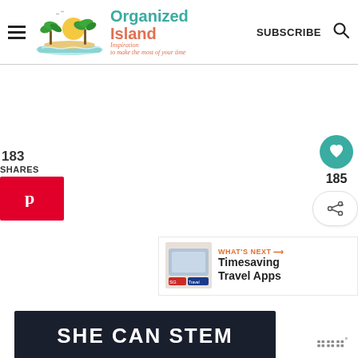Organized Island — Inspiration to make the most of your time | SUBSCRIBE
183
SHARES
[Figure (logo): Pinterest share button (red background, white P icon)]
[Figure (logo): Heart/like button (teal circle) with count 185, and share button below]
[Figure (infographic): What's Next box: Timesaving Travel Apps with thumbnail]
[Figure (screenshot): SHE CAN STEM banner in dark background with bold white text]